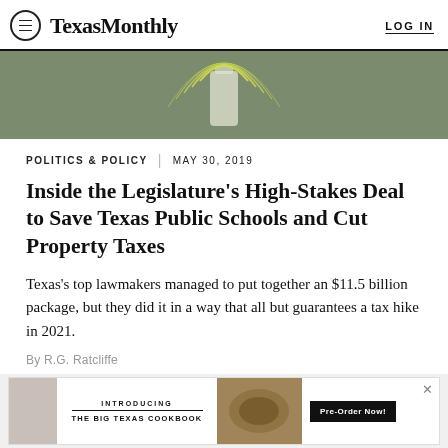Texas Monthly | LOG IN
[Figure (illustration): Cropped illustration with olive/sage green background and abstract yellow line design resembling a jar or vase with light rays]
POLITICS & POLICY | MAY 30, 2019
Inside the Legislature's High-Stakes Deal to Save Texas Public Schools and Cut Property Taxes
Texas's top lawmakers managed to put together an $11.5 billion package, but they did it in a way that all but guarantees a tax hike in 2021.
By R.G. Ratcliffe
[Figure (other): Advertisement banner: INTRODUCING THE BIG TEXAS COOKBOOK with food photo and Pre-Order Now button]